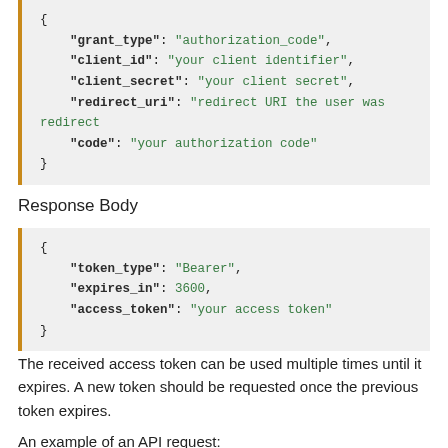{
    "grant_type": "authorization_code",
    "client_id": "your client identifier",
    "client_secret": "your client secret",
    "redirect_uri": "redirect URI the user was redirect
    "code": "your authorization code"
}
Response Body
{
    "token_type": "Bearer",
    "expires_in": 3600,
    "access_token": "your access token"
}
The received access token can be used multiple times until it expires. A new token should be requested once the previous token expires.
An example of an API request: